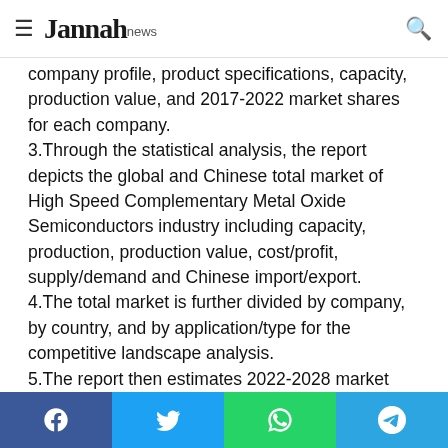Jannah news
company profile, product specifications, capacity, production value, and 2017-2022 market shares for each company. 3.Through the statistical analysis, the report depicts the global and Chinese total market of High Speed Complementary Metal Oxide Semiconductors industry including capacity, production, production value, cost/profit, supply/demand and Chinese import/export. 4.The total market is further divided by company, by country, and by application/type for the competitive landscape analysis. 5.The report then estimates 2022-2028 market development trends of High Speed Complementary Metal Oxide Semiconductors industry. Analysis of upstream raw materials, downstream demand, and current market dynamics is also carried out.
Facebook Twitter WhatsApp Telegram